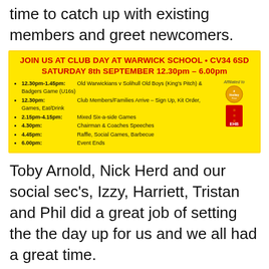time to catch up with existing members and greet newcomers.
[Figure (infographic): Yellow banner advertisement for Club Day at Warwick School, CV34 6SD, Saturday 8th September 12.30pm – 6.00pm, with schedule of events and logos.]
Toby Arnold, Nick Herd and our social sec's, Izzy, Harriett, Tristan and Phil did a great job of setting the the day up for us and we all had a great time.
Also a big thank you to our sponsors and key suppliers for their support with club day and the coming season.
Izzy writes "Thanks to everyone who turned up to this years Club Day. As ever its great to see members from all sections across the club come